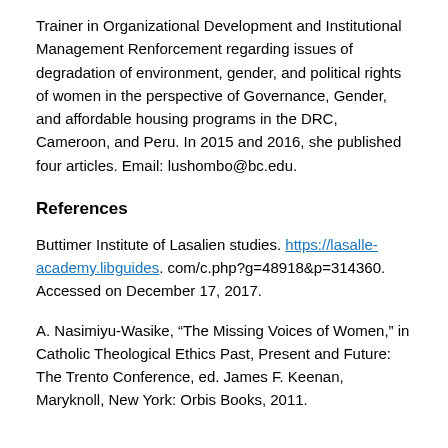Trainer in Organizational Development and Institutional Management Renforcement regarding issues of degradation of environment, gender, and political rights of women in the perspective of Governance, Gender, and affordable housing programs in the DRC, Cameroon, and Peru. In 2015 and 2016, she published four articles. Email: lushombo@bc.edu.
References
Buttimer Institute of Lasalien studies. https://lasalle-academy.libguides. com/c.php?g=48918&p=314360. Accessed on December 17, 2017.
A. Nasimiyu-Wasike, "The Missing Voices of Women," in Catholic Theological Ethics Past, Present and Future: The Trento Conference, ed. James F. Keenan, Maryknoll, New York: Orbis Books, 2011.